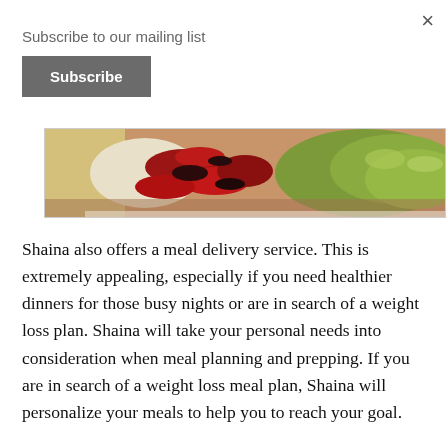×
Subscribe to our mailing list
Subscribe
[Figure (photo): Close-up photo of a food dish with roasted red peppers, white cheese or sauce, and green guacamole or avocado spread on the right side.]
Shaina also offers a meal delivery service.  This is extremely appealing, especially if you need healthier dinners for those busy nights or are in search of a weight loss plan.  Shaina will take your personal needs into consideration when meal planning and prepping.  If you are in search of a weight loss meal plan, Shaina will personalize your meals to help you to reach your goal.